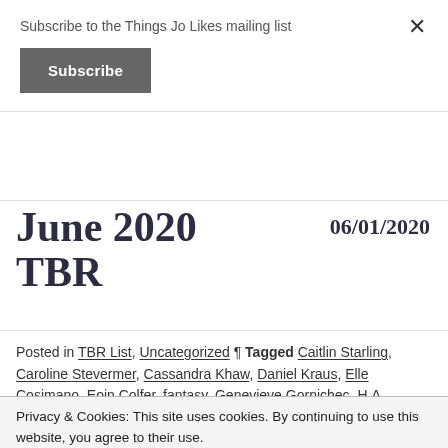Subscribe to the Things Jo Likes mailing list
Subscribe
June 2020 TBR
06/01/2020
Posted in TBR List, Uncategorized ¶ Tagged Caitlin Starling, Caroline Stevermer, Cassandra Khaw, Daniel Kraus, Elle Cosimano, Eoin Colfer, fantasy, Genevieve Gornichec, H.A. Clarke, Hari Hunzru, Jenn Lyons, JoReads2020, Kate Alice Marshall, Kester Grant, P. Dieli Clark, R.L Theodore, reading, Rin
Privacy & Cookies: This site uses cookies. By continuing to use this website, you agree to their use.
To find out more, including how to control cookies, see here: Cookie Policy
Close and accept
I read most of May's TBR. Check out this month's